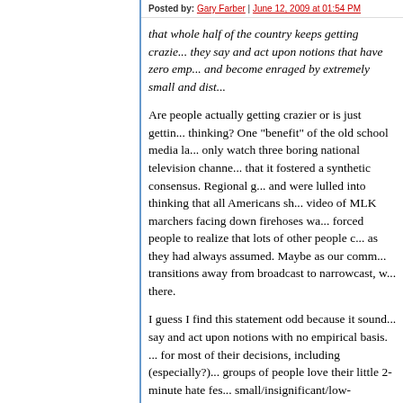Posted by: Gary Farber | June 12, 2009 at 01:54 PM
that whole half of the country keeps getting crazie... they say and act upon notions that have zero emp... and become enraged by extremely small and dist...
Are people actually getting crazier or is just gettin... thinking? One "benefit" of the old school media la... only watch three boring national television channe... that it fostered a synthetic consensus. Regional g... and were lulled into thinking that all Americans sh... video of MLK marchers facing down firehoses wa... forced people to realize that lots of other people c... as they had always assumed. Maybe as our comm... transitions away from broadcast to narrowcast, w... there.
I guess I find this statement odd because it sound... say and act upon notions with no empirical basis. ... for most of their decisions, including (especially?)... groups of people love their little 2-minute hate fes... small/insignificant/low-probability problems. This b... universal to ascribe to the 25% of the country tha...